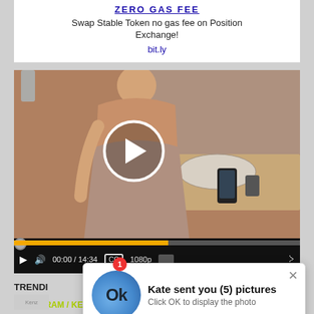[Figure (screenshot): Advertisement banner with text 'ZERO GAS FEE' link, 'Swap Stable Token no gas fee on Position Exchange!' and bit.ly link]
[Figure (screenshot): A video player showing a person in a tight dress viewed from behind in a bathroom setting, with playback controls showing 00:00 / 14:34, 1080p quality]
[Figure (infographic): Notification popup: '1' badge, blue circle with 'Ok' text avatar, message 'Kate sent you (5) pictures', 'Click OK to display the photo', close X button, 'Ads By ClickAdilla cj4' label]
TRENDI
INSTAGRAM / KENZLIEE / TWITCH